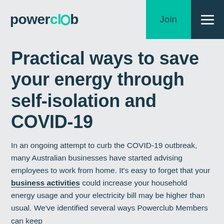powerclub | Join | ☰
Practical ways to save your energy through self-isolation and COVID-19
In an ongoing attempt to curb the COVID-19 outbreak, many Australian businesses have started advising employees to work from home. It's easy to forget that your business activities could increase your household energy usage and your electricity bill may be higher than usual. We've identified several ways Powerclub Members can keep